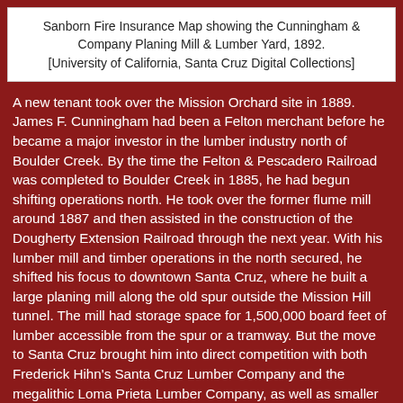Sanborn Fire Insurance Map showing the Cunningham & Company Planing Mill & Lumber Yard, 1892. [University of California, Santa Cruz Digital Collections]
A new tenant took over the Mission Orchard site in 1889. James F. Cunningham had been a Felton merchant before he became a major investor in the lumber industry north of Boulder Creek. By the time the Felton & Pescadero Railroad was completed to Boulder Creek in 1885, he had begun shifting operations north. He took over the former flume mill around 1887 and then assisted in the construction of the Dougherty Extension Railroad through the next year. With his lumber mill and timber operations in the north secured, he shifted his focus to downtown Santa Cruz, where he built a large planing mill along the old spur outside the Mission Hill tunnel. The mill had storage space for 1,500,000 board feet of lumber accessible from the spur or a tramway. But the move to Santa Cruz brought him into direct competition with both Frederick Hihn's Santa Cruz Lumber Company and the megalithic Loma Prieta Lumber Company, as well as smaller players such as the Grovers. Within two years, Cunningham was pushed out of Santa Cruz and his business merged with